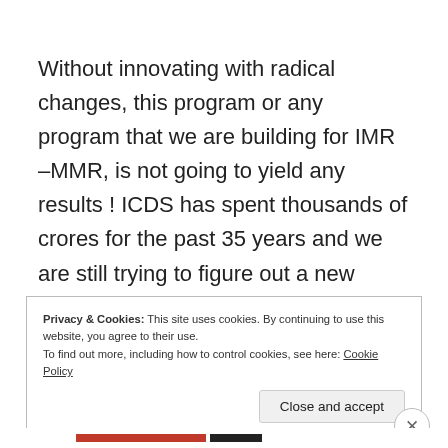Without innovating with radical changes, this program or any program that we are building for IMR –MMR, is not going to yield any results ! ICDS has spent thousands of crores for the past 35 years and we are still trying to figure out a new model for ICDS with an inter-ministerial group ! Hoping that the new program will deliver !
Privacy & Cookies: This site uses cookies. By continuing to use this website, you agree to their use.
To find out more, including how to control cookies, see here: Cookie Policy